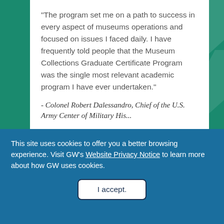"The program set me on a path to success in every aspect of museums operations and focused on issues I faced daily. I have frequently told people that the Museum Collections Graduate Certificate Program was the single most relevant academic program I have ever undertaken."
- Colonel Robert Dalessandro, Chief of the U.S. Army Center of Military His...
This site uses cookies to offer you a better browsing experience. Visit GW's Website Privacy Notice to learn more about how GW uses cookies.
I accept.